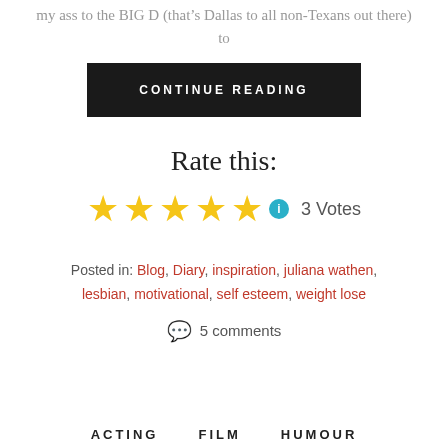my ass to the BIG D (that's Dallas to all non-Texans out there) to
CONTINUE READING
Rate this:
[Figure (other): Five gold stars rating with info icon and '3 Votes' text]
Posted in: Blog, Diary, inspiration, juliana wathen, lesbian, motivational, self esteem, weight lose
5 comments
ACTING   FILM   HUMOUR